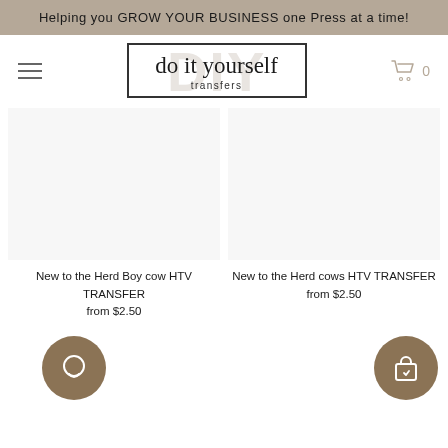Helping you GROW YOUR BUSINESS one Press at a time!
[Figure (logo): DIY Transfers logo — script text 'do it yourself transfers' in a bordered box with large faded DIY letters in background]
New to the Herd Boy cow HTV TRANSFER
from $2.50
New to the Herd cows HTV TRANSFER
from $2.50